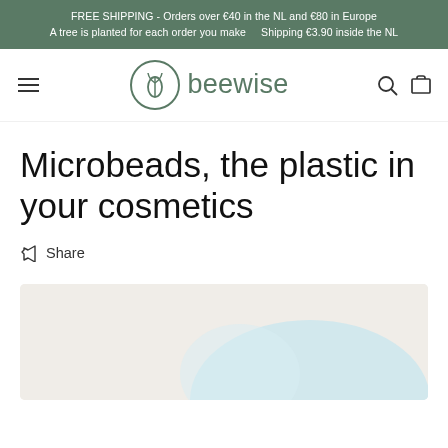FREE SHIPPING - Orders over €40 in the NL and €80 in Europe
A tree is planted for each order you make    Shipping €3.90 inside the NL
[Figure (logo): Beewise brand logo: a circular leaf/plant icon next to the word 'beewise' in green]
Microbeads, the plastic in your cosmetics
Share